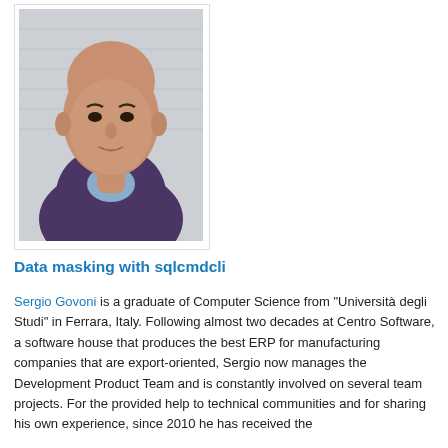[Figure (photo): Headshot photo of Sergio Govoni, a bald man wearing a dark purple sweater over a light blue collared shirt, photographed against a light background with faint horizontal stripes.]
Data masking with sqlcmdcli
Sergio Govoni is a graduate of Computer Science from "Università degli Studi" in Ferrara, Italy. Following almost two decades at Centro Software, a software house that produces the best ERP for manufacturing companies that are export-oriented, Sergio now manages the Development Product Team and is constantly involved on several team projects. For the provided help to technical communities and for sharing his own experience, since 2010 he has received the